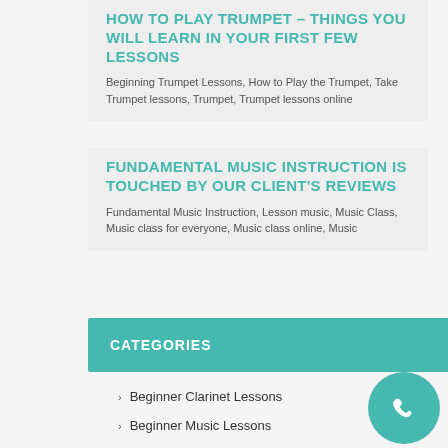HOW TO PLAY TRUMPET – THINGS YOU WILL LEARN IN YOUR FIRST FEW LESSONS
Beginning Trumpet Lessons, How to Play the Trumpet, Take Trumpet lessons, Trumpet, Trumpet lessons online
FUNDAMENTAL MUSIC INSTRUCTION IS TOUCHED BY OUR CLIENT'S REVIEWS
Fundamental Music Instruction, Lesson music, Music Class, Music class for everyone, Music class online, Music
CATEGORIES
Beginner Clarinet Lessons
Beginner Music Lessons
Beginning Flute Lessons
Clarinet Lesson
Clarinet lessons online